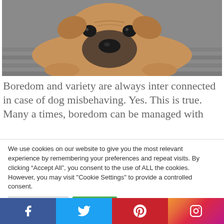[Figure (photo): A brown/fawn French Bulldog or Boxer-type dog lying flat on a wooden deck floor, looking directly at the camera with a sleepy or sad expression. Gray wooden planks visible in background.]
Boredom and variety are always inter connected in case of dog misbehaving. Yes. This is true. Many a times, boredom can be managed with
We use cookies on our website to give you the most relevant experience by remembering your preferences and repeat visits. By clicking “Accept All”, you consent to the use of ALL the cookies. However, you may visit "Cookie Settings" to provide a controlled consent.
Cookie Settings | Accept All
[Figure (infographic): Social media share bar with four icons: Facebook (blue), Twitter (light blue), Pinterest (red), Instagram (gradient orange-to-purple)]